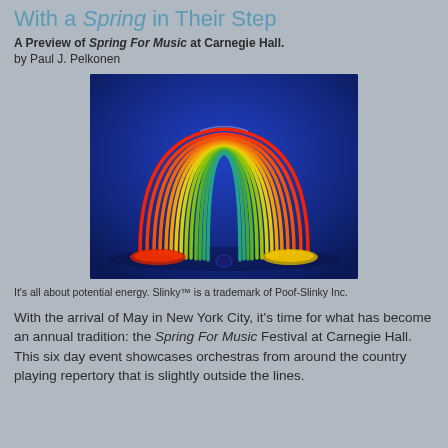With a Spring in Their Step
A Preview of Spring For Music at Carnegie Hall.
by Paul J. Pelkonen
[Figure (photo): A rainbow-colored Slinky toy photographed against a blue background, arched in a semi-circle shape. Colors transition from red/orange on the left to green/yellow on the right.]
It's all about potential energy. Slinky™ is a trademark of Poof-Slinky Inc.
With the arrival of May in New York City, it's time for what has become an annual tradition: the Spring For Music Festival at Carnegie Hall. This six day event showcases orchestras from around the country playing repertory that is slightly outside the lines.